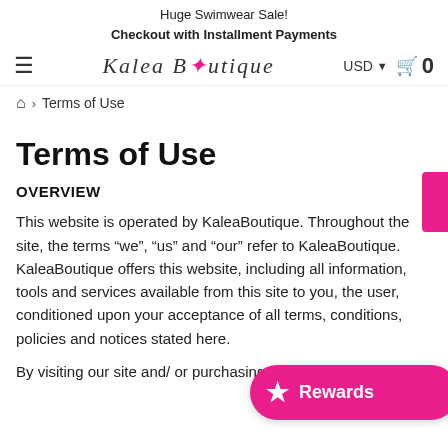Huge Swimwear Sale!
Checkout with Installment Payments
[Figure (logo): Kalea Boutique logo with stylized italic text and pink flower dot]
Terms of Use (breadcrumb)
Terms of Use
OVERVIEW
This website is operated by KaleaBoutique. Throughout the site, the terms “we”, “us” and “our” refer to KaleaBoutique. KaleaBoutique offers this website, including all information, tools and services available from this site to you, the user, conditioned upon your acceptance of all terms, conditions, policies and notices stated here.
By visiting our site and/ or purchasing something from